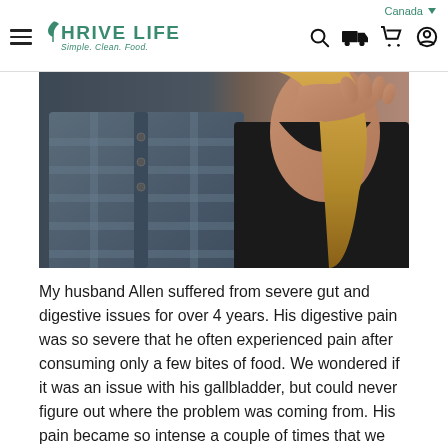Canada  |  Thrive Life - Simple. Clean. Food.
[Figure (photo): Close-up photo of a couple standing together, the man wearing a blue plaid shirt on the left and a woman with blonde hair on the right, his arm around her shoulder.]
My husband Allen suffered from severe gut and digestive issues for over 4 years. His digestive pain was so severe that he often experienced pain after consuming only a few bites of food. We wondered if it was an issue with his gallbladder, but could never figure out where the problem was coming from. His pain became so intense a couple of times that we had to rush him to the ER.